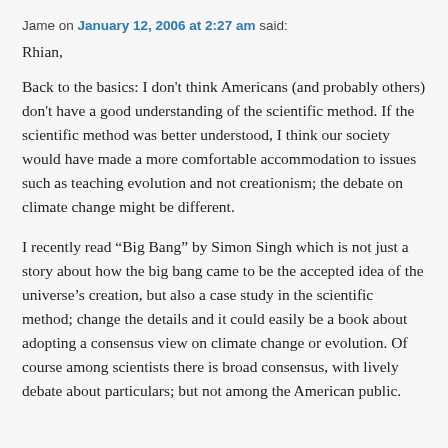Jame on January 12, 2006 at 2:27 am said:
Rhian,
Back to the basics: I don't think Americans (and probably others) don't have a good understanding of the scientific method. If the scientific method was better understood, I think our society would have made a more comfortable accommodation to issues such as teaching evolution and not creationism; the debate on climate change might be different.
I recently read “Big Bang” by Simon Singh which is not just a story about how the big bang came to be the accepted idea of the universe’s creation, but also a case study in the scientific method; change the details and it could easily be a book about adopting a consensus view on climate change or evolution. Of course among scientists there is broad consensus, with lively debate about particulars; but not among the American public.